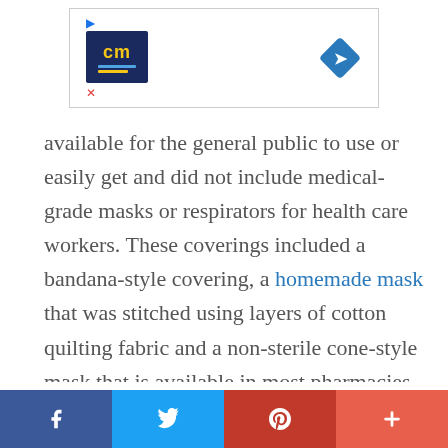[Figure (other): Advertisement banner with CM logo and navigation arrow icon]
available for the general public to use or easily get and did not include medical-grade masks or respirators for health care workers. These coverings included a bandana-style covering, a homemade mask that was stitched using layers of cotton quilting fabric and a non-sterile cone-style mask that is available in most pharmacies. Using a mannequin, they simulated
Facebook share | Twitter share | Pinterest share | More share